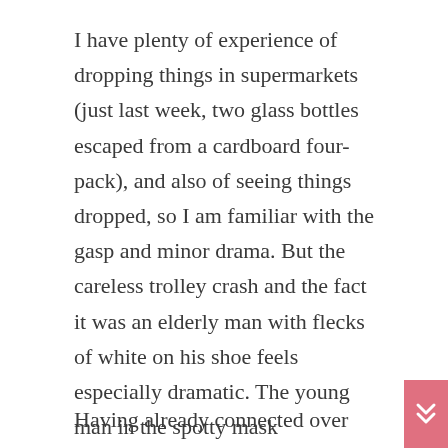I have plenty of experience of dropping things in supermarkets (just last week, two glass bottles escaped from a cardboard four-pack), and also of seeing things dropped, so I am familiar with the gasp and minor drama. But the careless trolley crash and the fact it was an elderly man with flecks of white on his shoe feels especially dramatic. The young man in the spotty mask apologises profusely and rummages in his pockets, I assume for tissues, which he doen't find, then grabs two litres of milk and rushes off saying something about parking.
Having already connected over long-date milk, the woman and I bond in our mutual shock and